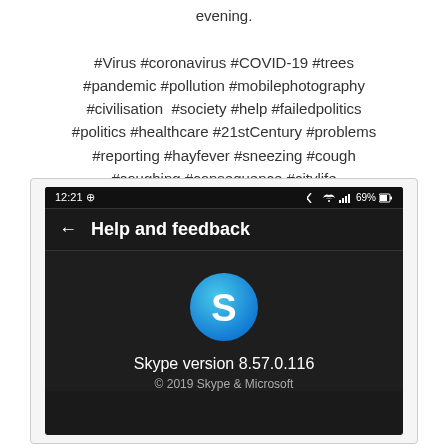evening.

#Virus #coronavirus #COVID-19 #trees #pandemic #pollution #mobilephotography #civilisation  #society #help #failedpolitics #politics #healthcare #21stCentury #problems #reporting #hayfever #sneezing #cough #coughing #consequence #citylife
[Figure (screenshot): Screenshot of Skype mobile app 'Help and feedback' screen showing Skype version 8.57.0.116 and copyright 2019 Skype & Microsoft. Status bar shows 12:21 time and 69% battery.]